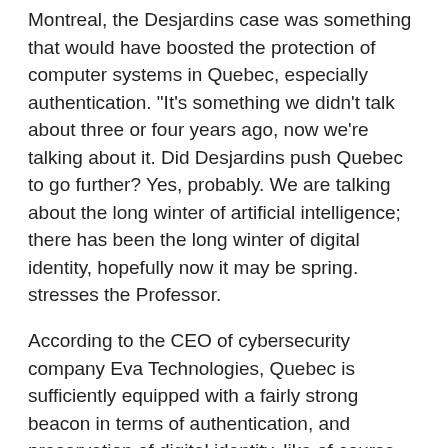Montreal, the Desjardins case was something that would have boosted the protection of computer systems in Quebec, especially authentication. "It's something we didn't talk about three or four years ago, now we're talking about it. Did Desjardins push Quebec to go further? Yes, probably. We are talking about the long winter of artificial intelligence; there has been the long winter of digital identity, hopefully now it may be spring. stresses the Professor.
According to the CEO of cybersecurity company Eva Technologies, Quebec is sufficiently equipped with a fairly strong beacon in terms of authentication, and preservation of digital identity, like of course the driver's license: "We are so close… There is already a barcode at the back, we would only have to make a database with health insurance, we would have the basis of our national identity card. ».